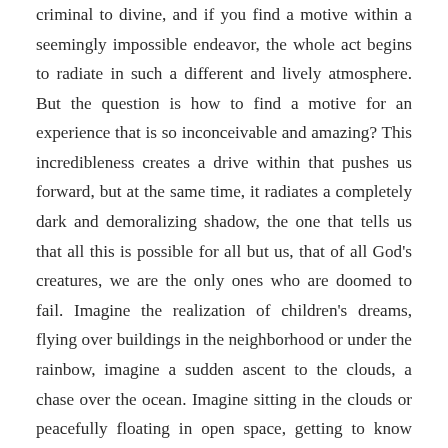criminal to divine, and if you find a motive within a seemingly impossible endeavor, the whole act begins to radiate in such a different and lively atmosphere. But the question is how to find a motive for an experience that is so inconceivable and amazing? This incredibleness creates a drive within that pushes us forward, but at the same time, it radiates a completely dark and demoralizing shadow, the one that tells us that all this is possible for all but us, that of all God's creatures, we are the only ones who are doomed to fail. Imagine the realization of children's dreams, flying over buildings in the neighborhood or under the rainbow, imagine a sudden ascent to the clouds, a chase over the ocean. Imagine sitting in the clouds or peacefully floating in open space, getting to know your past life, metamorphosing into an animal, or some completely different form. To build such an appropriate motive, you do not need anything new; you just need to become a child.